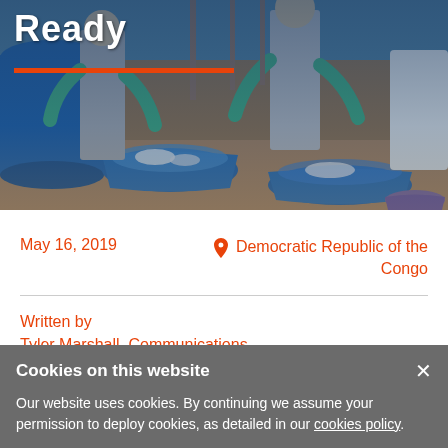[Figure (photo): Photo of people in protective gear washing equipment in blue basins/bowls at what appears to be an Ebola treatment or decontamination site. Large blue barrels visible. Workers wearing teal/green gloves and grey protective clothing.]
Ready
May 16, 2019
Democratic Republic of the Congo
Written by
Tyler Marshall, Communications Specialist, International Medical
Cookies on this website
Our website uses cookies. By continuing we assume your permission to deploy cookies, as detailed in our cookies policy.